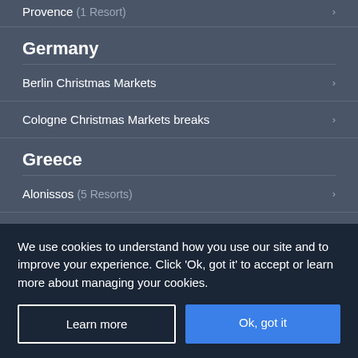Provence (1 Resort)
Germany
Berlin Christmas Markets
Cologne Christmas Markets breaks
Greece
Alonissos (5 Resorts)
Athens
We use cookies to understand how you use our site and to improve your experience. Click 'Ok, got it' to accept or learn more about managing your cookies.
Learn more
Ok, got it